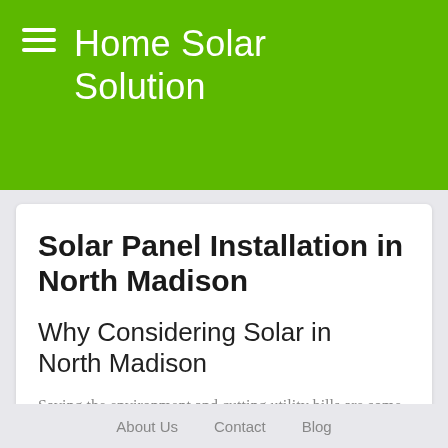Home Solar Solution
Solar Panel Installation in North Madison
Why Considering Solar in North Madison
Saving the environment and cutting utility bills are some of the main reasons homeowners prefer solar power. Solar energy is a great way to enhance home efficiency
About Us   Contact   Blog